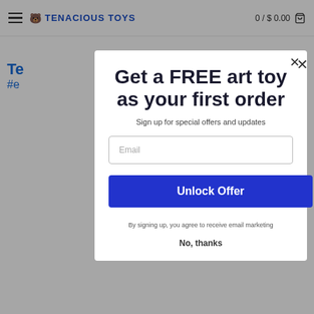Tenacious Toys — 0 / $ 0.00
Te
#e
Get a FREE art toy as your first order
Sign up for special offers and updates
Email
Unlock Offer
By signing up, you agree to receive email marketing
No, thanks